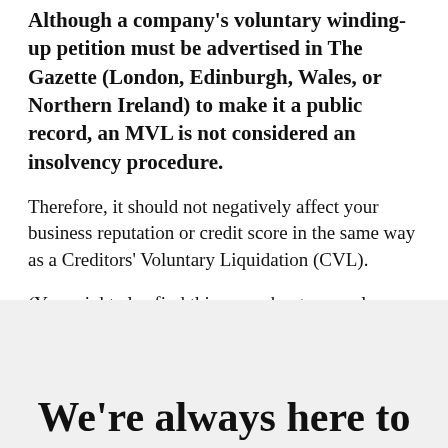Although a company's voluntary winding-up petition must be advertised in The Gazette (London, Edinburgh, Wales, or Northern Ireland) to make it a public record, an MVL is not considered an insolvency procedure.
Therefore, it should not negatively affect your business reputation or credit score in the same way as a Creditors' Voluntary Liquidation (CVL).
(You might also find this page about compulsory liquidations useful).
We're always here to